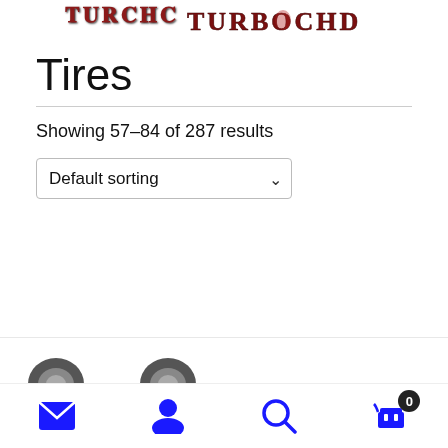TURBOCHD (logo/brand header)
Tires
Showing 57–84 of 287 results
Default sorting (dropdown)
[Figure (other): Partial product thumbnail images at bottom of page]
Bottom navigation bar with mail, account, search, and cart (0) icons